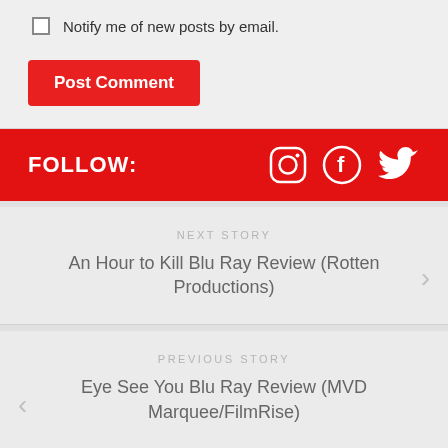Notify me of new posts by email.
Post Comment
FOLLOW:
NEXT STORY
An Hour to Kill Blu Ray Review (Rotten Productions)
PREVIOUS STORY
Eye See You Blu Ray Review (MVD Marquee/FilmRise)